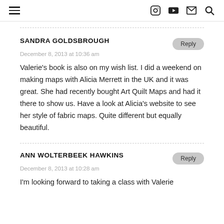Navigation header with hamburger menu and icons: Instagram, YouTube, Mail, Search
SANDRA GOLDSBROUGH
December 8, 2013 at 10:36 am

Valerie's book is also on my wish list. I did a weekend on making maps with Alicia Merrett in the UK and it was great. She had recently bought Art Quilt Maps and had it there to show us. Have a look at Alicia's website to see her style of fabric maps. Quite different but equally beautiful.
ANN WOLTERBEEK HAWKINS
December 8, 2013 at 10:28 am

I'm looking forward to taking a class with Valerie...